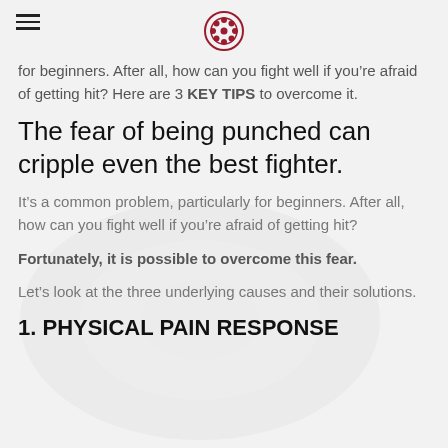[hamburger menu icon] [circular logo]
for beginners. After all, how can you fight well if you’re afraid of getting hit? Here are 3 KEY TIPS to overcome it.
The fear of being punched can cripple even the best fighter.
It’s a common problem, particularly for beginners. After all, how can you fight well if you’re afraid of getting hit?
Fortunately, it is possible to overcome this fear.
Let’s look at the three underlying causes and their solutions.
1. PHYSICAL PAIN RESPONSE